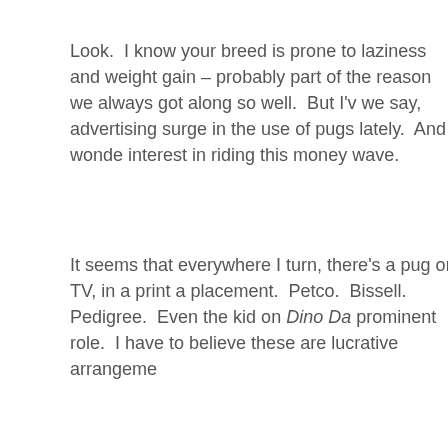Look.  I know your breed is prone to laziness and weight gain – probably part of the reason we always got along so well.  But I've noticed, we say, advertising surge in the use of pugs lately.  And I wonder about your interest in riding this money wave.
It seems that everywhere I turn, there's a pug on TV, in a print ad, a product placement.  Petco.  Bissell.  Pedigree.  Even the kid on Dino Da... prominent role.  I have to believe these are lucrative arrangements.
And then, I saw this.
[Figure (photo): Grayscale photo showing a dark rounded rectangular device (likely a remote control or electronic device) with three circular buttons/dots visible at the bottom, set against a light gray background.]